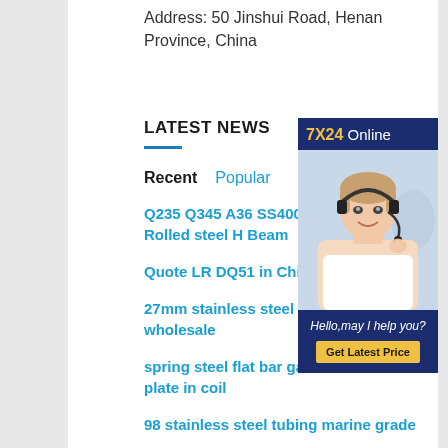Address: 50 Jinshui Road, Henan Province, China
LATEST NEWS
Recent   Popular
Q235 Q345 A36 SS400 S235JR Hot Rolled steel H Beam
Quote LR DQ51 in China
27mm stainless steel pipe for wholesale
spring steel flat bar galvanized steel plate in coil
98 stainless steel tubing marine grade
[Figure (photo): Customer service representative wearing headset with 7X24 Online banner and Get Latest Price button]